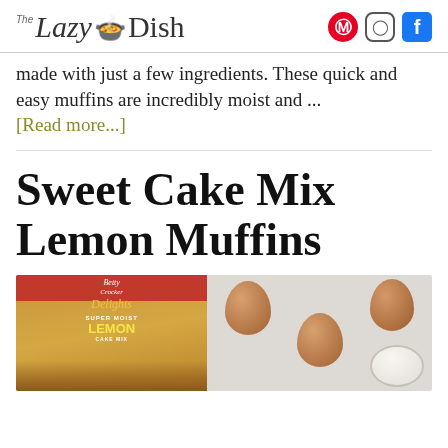The Lazy Dish
made with just a few ingredients. These quick and easy muffins are incredibly moist and ...
[Read more...]
Sweet Cake Mix Lemon Muffins
[Figure (photo): Betty Crocker Delights Super Moist Lemon Cake Mix box next to brown eggs and a dish of butter/milk on a light background]